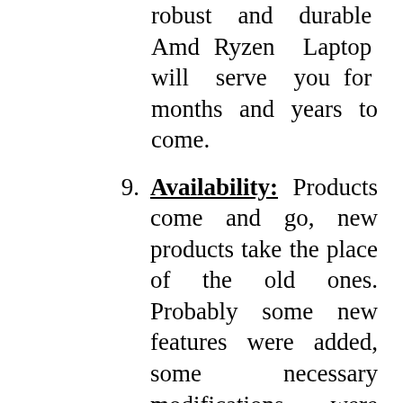...finally go hand in hand. A robust and durable Amd Ryzen Laptop will serve you for months and years to come.
9. Availability: Products come and go, new products take the place of the old ones. Probably some new features were added, some necessary modifications were done. What's the point of using a supposedly good Amd Ryzen Laptop if that's no longer continued by the manufacturer? We try to feature products that are up-to-date and sold by at least